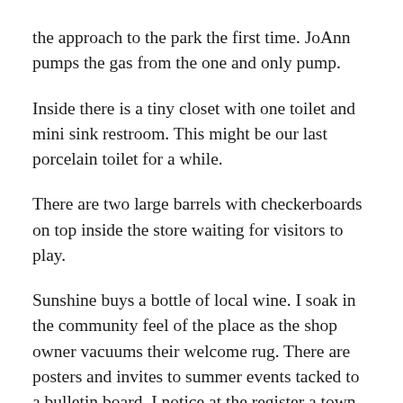the approach to the park the first time. JoAnn pumps the gas from the one and only pump.
Inside there is a tiny closet with one toilet and mini sink restroom. This might be our last porcelain toilet for a while.
There are two large barrels with checkerboards on top inside the store waiting for visitors to play.
Sunshine buys a bottle of local wine. I soak in the community feel of the place as the shop owner vacuums their welcome rug. There are posters and invites to summer events tacked to a bulletin board. I notice at the register a town newspaper dedicated to “The Most Wanted” people in the county. The front page is covered with many square pictures of faces, with names and a